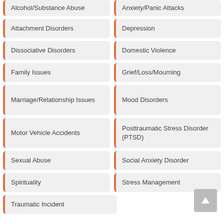Alcohol/Substance Abuse
Anxiety/Panic Attacks
Attachment Disorders
Depression
Dissociative Disorders
Domestic Violence
Family Issues
Grief/Loss/Mourning
Marriage/Relationship Issues
Mood Disorders
Motor Vehicle Accidents
Posttraumatic Stress Disorder (PTSD)
Sexual Abuse
Social Anxiety Disorder
Spirituality
Stress Management
Traumatic Incident